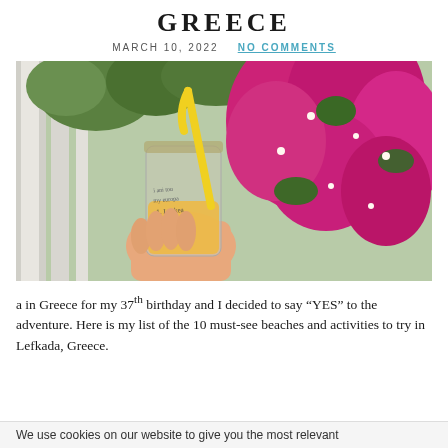GREECE
MARCH 10, 2022   NO COMMENTS
[Figure (photo): A hand holding a glass jar with orange juice and a yellow straw, in front of bright magenta bougainvillea flowers and a white wooden fence, in Greece.]
a in Greece for my 37th birthday and I decided to say “YES” to the adventure. Here is my list of the 10 must-see beaches and activities to try in Lefkada, Greece.
We use cookies on our website to give you the most relevant